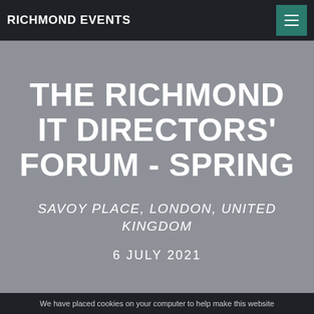RICHMOND EVENTS
THE RICHMOND IT DIRECTORS' FORUM - SPRING
SAVOY PLACE, LONDON, UNITED KINGDOM
6 JULY 2021
We have placed cookies on your computer to help make this website